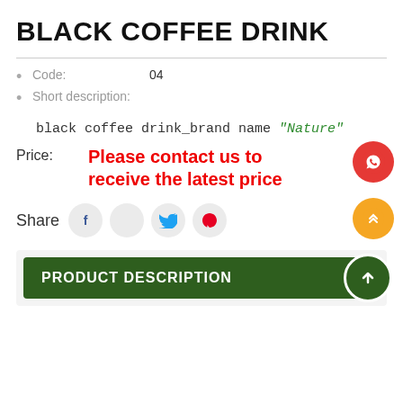BLACK COFFEE DRINK
Code: 04
Short description:
black coffee drink_brand name "Nature"
Price: Please contact us to receive the latest price
Share
PRODUCT DESCRIPTION